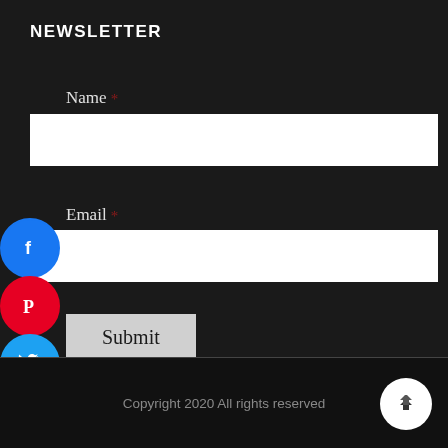NEWSLETTER
Name *
Email *
Submit
[Figure (infographic): Social share buttons on left side: Facebook (blue circle), Pinterest (red circle), Twitter (blue circle), WhatsApp (green circle), LinkedIn (blue circle), and a collapse arrow button (dark circle)]
Copyright 2020 All rights reserved